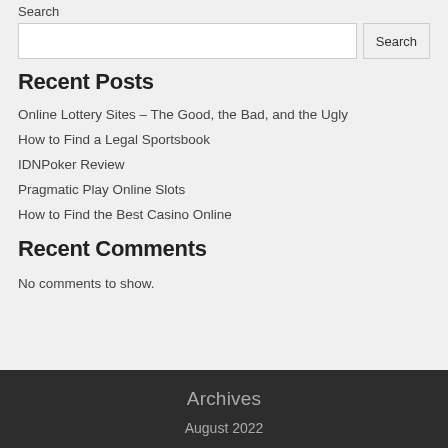Search
Search input and button
Recent Posts
Online Lottery Sites – The Good, the Bad, and the Ugly
How to Find a Legal Sportsbook
IDNPoker Review
Pragmatic Play Online Slots
How to Find the Best Casino Online
Recent Comments
No comments to show.
Archives
August 2022